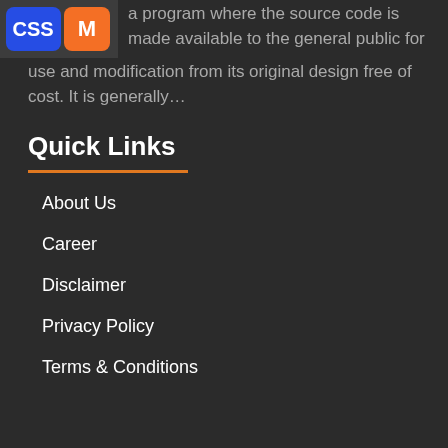[Figure (logo): Logo image showing CSS and Magento related icons]
a program where the source code is made available to the general public for use and modification from its original design free of cost. It is generally…
Quick Links
About Us
Career
Disclaimer
Privacy Policy
Terms & Conditions